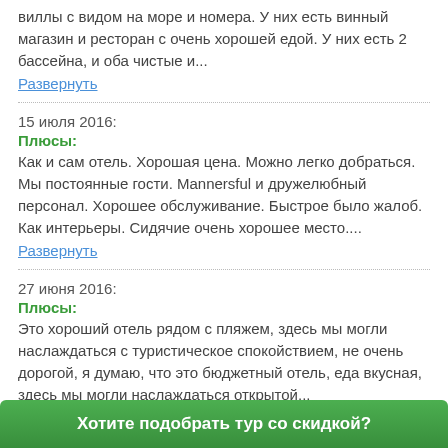виллы с видом на море и номера. У них есть винный магазин и ресторан с очень хорошей едой. У них есть 2 бассейна, и оба чистые и...
Развернуть
15 июля 2016:
Плюсы:
Как и сам отель. Хорошая цена. Можно легко добраться. Мы постоянные гости. Mannersful и дружелюбный персонал. Хорошее обслуживание. Быстрое было жалоб. Как интерьеры. Сидячие очень хорошее место....
Развернуть
27 июня 2016:
Плюсы:
Это хороший отель рядом с пляжем, здесь мы могли наслаждаться с туристическое спокойствием, не очень дорогой, я думаю, что это бюджетный отель, еда вкусная, здесь мы могли наслаждаться открытой...
Развернуть
Хотите подобрать тур со скидкой?